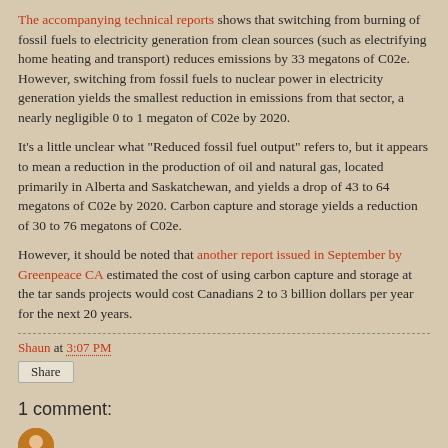The accompanying technical reports shows that switching from burning of fossil fuels to electricity generation from clean sources (such as electrifying home heating and transport) reduces emissions by 33 megatons of C02e. However, switching from fossil fuels to nuclear power in electricity generation yields the smallest reduction in emissions from that sector, a nearly negligible 0 to 1 megaton of C02e by 2020.
It's a little unclear what "Reduced fossil fuel output" refers to, but it appears to mean a reduction in the production of oil and natural gas, located primarily in Alberta and Saskatchewan, and yields a drop of 43 to 64 megatons of C02e by 2020. Carbon capture and storage yields a reduction of 30 to 76 megatons of C02e.
However, it should be noted that another report issued in September by Greenpeace CA estimated the cost of using carbon capture and storage at the tar sands projects would cost Canadians 2 to 3 billion dollars per year for the next 20 years.
Shaun at 3:07 PM
Share
1 comment:
Gary October 30, 2009 at 4:21 PM